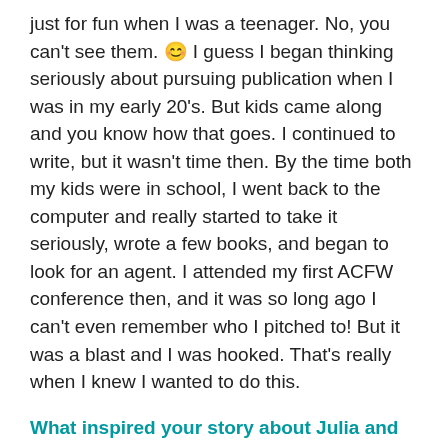just for fun when I was a teenager. No, you can't see them. 😊 I guess I began thinking seriously about pursuing publication when I was in my early 20's. But kids came along and you know how that goes. I continued to write, but it wasn't time then. By the time both my kids were in school, I went back to the computer and really started to take it seriously, wrote a few books, and began to look for an agent. I attended my first ACFW conference then, and it was so long ago I can't even remember who I pitched to! But it was a blast and I was hooked. That's really when I knew I wanted to do this.
What inspired your story about Julia and Reid in Bridge of Faith?
I love stories about lost love and second chances. I